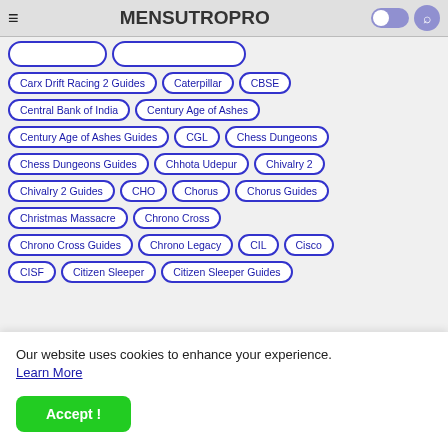MENSUTROPRO
Carx Drift Racing 2 Guides
Caterpillar
CBSE
Central Bank of India
Century Age of Ashes
Century Age of Ashes Guides
CGL
Chess Dungeons
Chess Dungeons Guides
Chhota Udepur
Chivalry 2
Chivalry 2 Guides
CHO
Chorus
Chorus Guides
Christmas Massacre
Chrono Cross
Chrono Cross Guides
Chrono Legacy
CIL
Cisco
CISF
Citizen Sleeper
Citizen Sleeper Guides
Our website uses cookies to enhance your experience. Learn More
Accept !